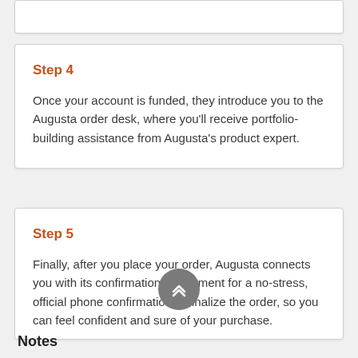Step 4
Once your account is funded, they introduce you to the Augusta order desk, where you'll receive portfolio-building assistance from Augusta's product expert.
Step 5
Finally, after you place your order, Augusta connects you with its confirmation department for a no-stress, official phone confirmation to finalize the order, so you can feel confident and sure of your purchase.
Notes